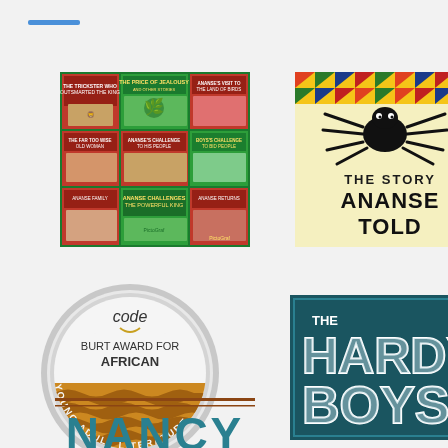[Figure (illustration): Blue horizontal bar/line accent at top left of page]
[Figure (illustration): Grid of Ananse book covers including 'The Price of Jealousy' and 'Ananse Challenges the Powerful King' — PictoGraf publisher]
[Figure (illustration): Book cover: 'The Story Ananse Told' — yellow background with large black spider and kente cloth strip at top]
[Figure (logo): CODE Burt Award for African Young Adult Literature — circular silver medal badge with orange African textile pattern]
[Figure (logo): The Hardy Boys — dark teal/blue background with bold 3D metallic white-silver text]
[Figure (illustration): Partial view of 'Nancy' title text at bottom, brown/rust colored decorative horizontal lines above teal lettering]